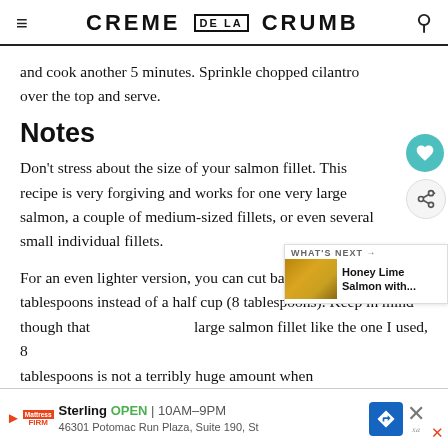CREME DE LA CRUMB
and cook another 5 minutes. Sprinkle chopped cilantro over the top and serve.
Notes
Don't stress about the size of your salmon fillet. This recipe is very forgiving and works for one very large salmon, a couple of medium-sized fillets, or even several small individual fillets.
For an even lighter version, you can cut back the butter to 4 tablespoons instead of a half cup (8 tablespoons). Keep in mind though that large salmon fillet like the one I used, 8
tablespoons is not a terribly huge amount when